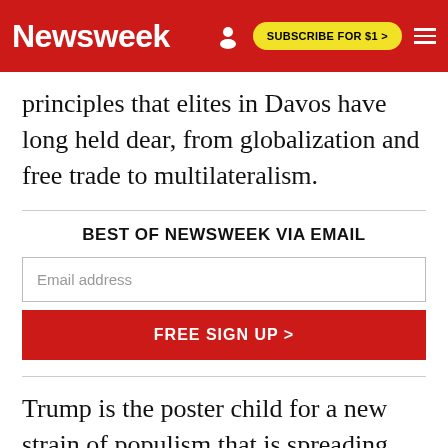Newsweek | SUBSCRIBE FOR $1 >
principles that elites in Davos have long held dear, from globalization and free trade to multilateralism.
BEST OF NEWSWEEK VIA EMAIL
Email address
FREE SIGN UP >
Trump is the poster child for a new strain of populism that is spreading across the developed world and threatening the post-war